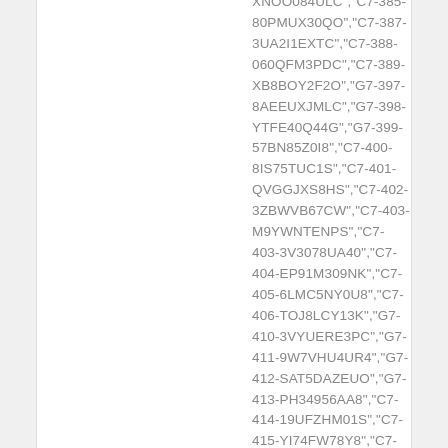XNOO084ULC","C7-385-80PMUX30QO","C7-387-3UA2I1EXTC","C7-388-060QFM3PDC","C7-389-XB8BOY2F2O","G7-397-8AEEUXJMLC","G7-398-YTFE40Q44G","G7-399-57BN85Z0I8","C7-400-8IS75TUC1S","C7-401-QVGGJXS8HS","C7-402-3ZBWVB67CW","C7-403-M9YWNTENPS","C7-403-3V3078UA40","C7-404-EP91M309NK","C7-405-6LMC5NY0U8","C7-406-TOJ8LCY13K","G7-410-3VYUERE3PC","G7-411-9W7VHU4UR4","G7-412-SAT5DAZEUO","G7-413-PH34956AA8","C7-414-19UFZHM01S","C7-415-YI74FW78Y8","C7-424-QQKPGU3SB4","C7-425-8UTH4ZHE8G","C7-428-DUV7IGL1JK","G3-453-X6MRJNEW9S","C3-455-02BRTB79DS","C3-457-18ZREJENMO","C3-459-